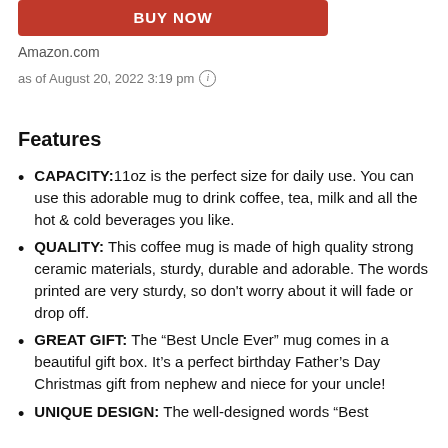[Figure (other): Red BUY NOW button (partially visible at top)]
Amazon.com
as of August 20, 2022 3:19 pm ⓘ
Features
CAPACITY:11oz is the perfect size for daily use. You can use this adorable mug to drink coffee, tea, milk and all the hot & cold beverages you like.
QUALITY: This coffee mug is made of high quality strong ceramic materials, sturdy, durable and adorable. The words printed are very sturdy, so don't worry about it will fade or drop off.
GREAT GIFT: The “Best Uncle Ever” mug comes in a beautiful gift box. It’s a perfect birthday Father’s Day Christmas gift from nephew and niece for your uncle!
UNIQUE DESIGN: The well-designed words “Best (truncated)